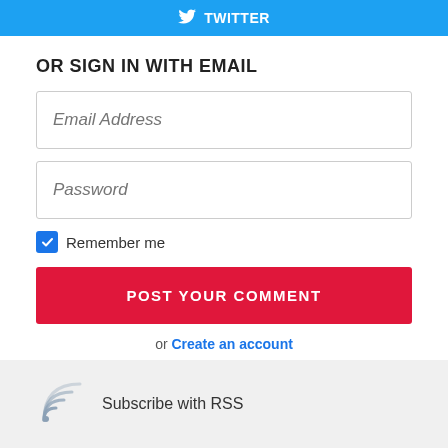[Figure (screenshot): Twitter sign-in button (blue background with Twitter bird icon and text)]
OR SIGN IN WITH EMAIL
[Figure (screenshot): Email Address input field with placeholder text in italic]
[Figure (screenshot): Password input field with placeholder text in italic]
Remember me
[Figure (screenshot): POST YOUR COMMENT button (red background, white uppercase text)]
or Create an account
[Figure (other): RSS subscribe icon (circular signal waves graphic)]
Subscribe with RSS